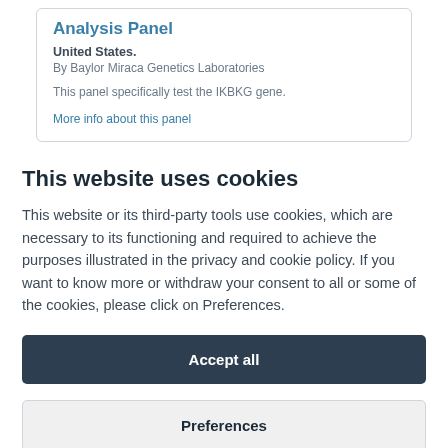Analysis Panel
United States.
By Baylor Miraca Genetics Laboratories
This panel specifically test the IKBKG gene.
More info about this panel
This website uses cookies
This website or its third-party tools use cookies, which are necessary to its functioning and required to achieve the purposes illustrated in the privacy and cookie policy. If you want to know more or withdraw your consent to all or some of the cookies, please click on Preferences.
Accept all
Preferences